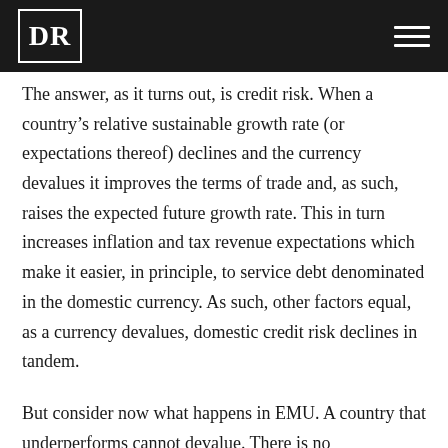DR
The answer, as it turns out, is credit risk. When a country's relative sustainable growth rate (or expectations thereof) declines and the currency devalues it improves the terms of trade and, as such, raises the expected future growth rate. This in turn increases inflation and tax revenue expectations which make it easier, in principle, to service debt denominated in the domestic currency. As such, other factors equal, as a currency devalues, domestic credit risk declines in tandem.
But consider now what happens in EMU. A country that underperforms cannot devalue. There is no improvement in the terms of trade and hence no increase in either inflation or tax revenue